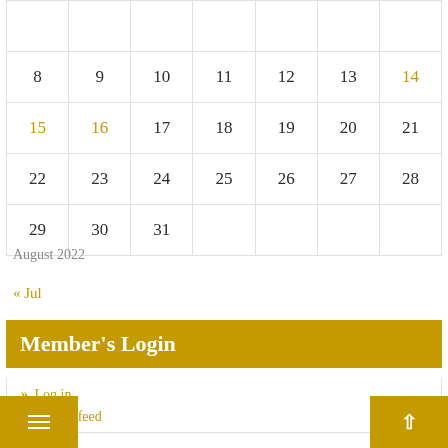| Sun | Mon | Tue | Wed | Thu | Fri | Sat |
| --- | --- | --- | --- | --- | --- | --- |
|  |  |  |  |  |  |  |
| 8 | 9 | 10 | 11 | 12 | 13 | 14 |
| 15 | 16 | 17 | 18 | 19 | 20 | 21 |
| 22 | 23 | 24 | 25 | 26 | 27 | 28 |
| 29 | 30 | 31 |  |  |  |  |
August 2022
« Jul
Member's Login
» Log in
» Entries feed